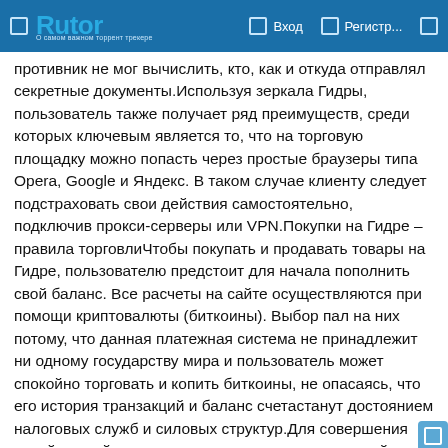Rutor | Вход | Регистр...
противник не мог вычислить, кто, как и откуда отправлял секретные документы.Используя зеркала Гидры, пользователь также получает ряд преимуществ, среди которых ключевым является то, что на торговую площадку можно попасть через простые браузеры типа Opera, Google и Яндекс. В таком случае клиенту следует подстраховать свои действия самостоятельно, подключив прокси-серверы или VPN.Покупки на Гидре – правила торговлиЧтобы покупать и продавать товары на Гидре, пользователю предстоит для начала пополнить свой баланс. Все расчеты на сайте осуществляются при помощи криптовалюты (биткоины). Выбор пал на них потому, что данная платежная система не принадлежит ни одному государству мира и пользователь может спокойно торговать и копить биткоины, не опасаясь, что его история транзакций и баланс счета станут достоянием налоговых служб и силовых структур.Для совершения своей первой покупки, пользователю предстоит войти на omg, авторизоваться и открыть главную страницу. Найти интересующие товары